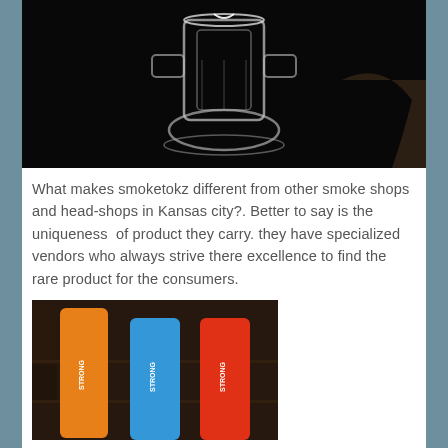[Figure (photo): Close-up photo of a clear glass smoking pipe/bong with multiple chambers against a dark black background]
What makes smoketokz different from other smoke shops and head-shops in Kansas city?. Better to say is the uniqueness  of product they carry. they have specialized vendors who always strive there excellence to find the rare product for the consumers.
[Figure (photo): Photo showing three colored (orange, blue, red) 'STRONG' branded products standing upright in what appears to be a store display shelf]